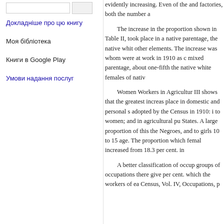Докладніше про цю книгу
Моя бібліотека
Книги в Google Play
Умови надання послуг
evidently increasing. Even of the and factories, both the number a The increase in the proportion shown in Table II, took place in a native parentage, the native whit other elements. The increase was whom were at work in 1910 as c mixed parentage, about one-fifth the native white females of nativ Women Workers in Agricultur III shows that the greatest increas place in domestic and personal s adopted by the Census in 1910: i to women; and in agricultural pu States. A large proportion of this the Negroes, and to girls 10 to 15 age. The proportion which femal increased from 18.3 per cent. in A better classification of occup groups of occupations there give per cent. which the workers of ea Census, Vol. IV, Occupations, p